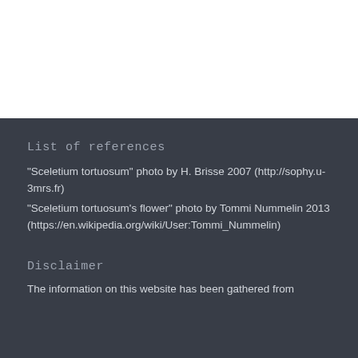List of references
"Sceletium tortuosum" photo by H. Brisse 2007 (http://sophy.u-3mrs.fr)
"Sceletium tortuosum's flower" photo by Tommi Nummelin 2013 (https://en.wikipedia.org/wiki/User:Tommi_Nummelin)
Disclaimer
The information on this website has been gathered from